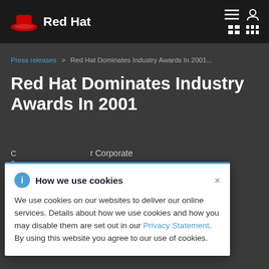Red Hat
Press releases > Red Hat Dominates Industry Awards In 2001...
Red Hat Dominates Industry Awards In 2001
Corporate a...
How we use cookies

We use cookies on our websites to deliver our online services. Details about how we use cookies and how you may disable them are set out in our Privacy Statement. By using this website you agree to our use of cookies.